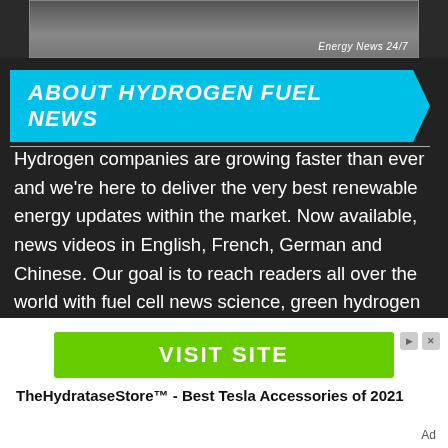[Figure (screenshot): Top portion of a webpage showing 'Energy News 24/7' label on a dark image banner]
ABOUT HYDROGEN FUEL NEWS
Hydrogen companies are growing faster than ever and we're here to deliver the very best renewable energy updates within the market. Now available, news videos in English, French, German and Chinese. Our goal is to reach readers all over the world with fuel cell news science, green hydrogen alternatives and research reports – Let us know about hydrogen news in your area in our
[Figure (screenshot): Advertisement banner with green 'VISIT SITE' button and ad controls. Ad text: TheHydrataseStore™ - Best Tesla Accessories of 2021. Ad label shown.]